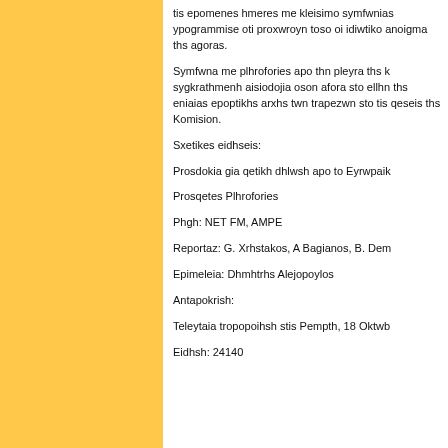tis epomenes hmeres me kleisimo symfwnias ypogrammise oti proxwroyn toso oi idiwttiko anoigma ths agoras.
Symfwna me plhrofories apo thn pleyra ths k sygkrathmenh aisiodojia oson afora sto ellhn ths eniaias epoptikhs arxhs twn trapezwn sto tis qeseis ths Komision.
Sxetikes eidhseis:
Prosdokia gia qetikh dhlwsh apo to Eyrwpaik
Prosqetes Plhrofories
Phgh: NET FM, AMPE
Reportaz: G. Xrhstakos, A Bagianos, B. Dem
Epimeleia: Dhmhtrhs Alejopoylos
Antapokrish:
Teleytaia tropopoihsh stis Pempth, 18 Oktwb
Eidhsh: 24140